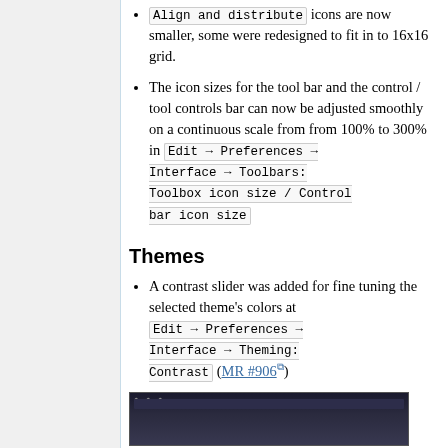Align and distribute icons are now smaller, some were redesigned to fit in to 16x16 grid.
The icon sizes for the tool bar and the control / tool controls bar can now be adjusted smoothly on a continuous scale from from 100% to 300% in Edit → Preferences → Interface → Toolbars: Toolbox icon size / Control bar icon size
Themes
A contrast slider was added for fine tuning the selected theme's colors at Edit → Preferences → Interface → Theming: Contrast (MR #906)
[Figure (screenshot): Screenshot of a dark-themed Inkscape interface showing toolbar area]